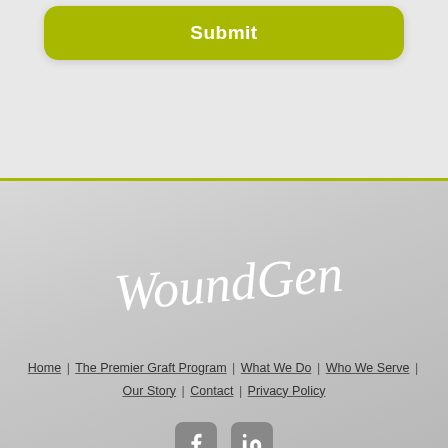[Figure (screenshot): A green Submit button inside a white rounded card on a light gray background]
[Figure (logo): WoundGenex logo in white cursive/script font on a light gray gradient footer background]
Home | The Premier Graft Program | What We Do | Who We Serve | Our Story | Contact | Privacy Policy
[Figure (other): Facebook and LinkedIn social media icon buttons in gray rounded squares]